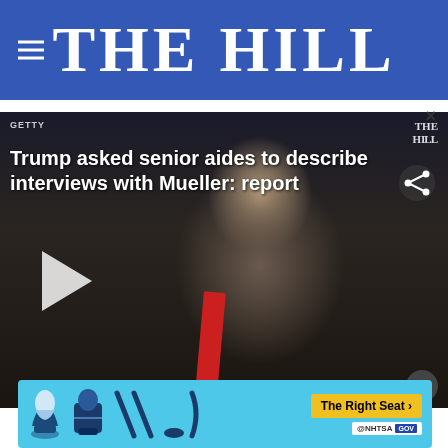THE HILL
[Figure (screenshot): Video thumbnail showing a man in a dark suit with a red tie being interviewed, with overlay text 'Trump asked senior aides to describe interviews with Mueller: report'. GETTY watermark top-left, The Hill watermark top-right, share icon, and play button visible.]
was an attempt to create a back channel between his team and Russia.
The sp... invest...